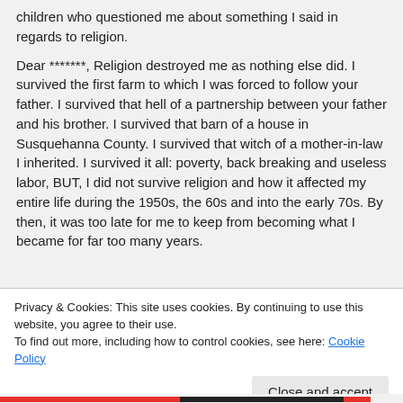children who questioned me about something I said in regards to religion.

Dear *******, Religion destroyed me as nothing else did. I survived the first farm to which I was forced to follow your father. I survived that hell of a partnership between your father and his brother. I survived that barn of a house in Susquehanna County. I survived that witch of a mother-in-law I inherited. I survived it all: poverty, back breaking and useless labor, BUT, I did not survive religion and how it affected my entire life during the 1950s, the 60s and into the early 70s. By then, it was too late for me to keep from becoming what I became for far too many years.
Privacy & Cookies: This site uses cookies. By continuing to use this website, you agree to their use.
To find out more, including how to control cookies, see here: Cookie Policy